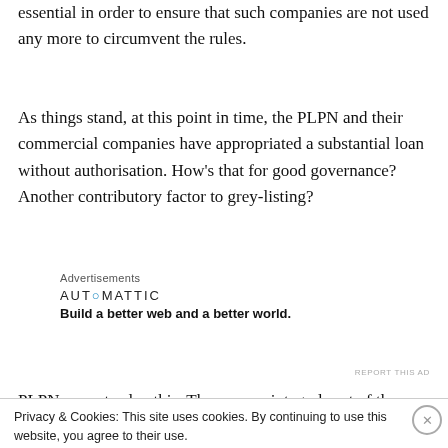essential in order to ensure that such companies are not used any more to circumvent the rules.
As things stand, at this point in time, the PLPN and their commercial companies have appropriated a substantial loan without authorisation. How’s that for good governance? Another contributory factor to grey-listing?
[Figure (other): Automattic advertisement: 'Build a better web and a better world.']
PLPN cannot solve this. They are an integral part of the
Privacy & Cookies: This site uses cookies. By continuing to use this website, you agree to their use.
To find out more, including how to control cookies, see here: Cookie Policy